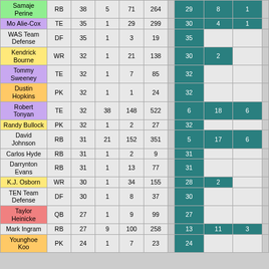| Name | Pos | Pts |  |  |  |  |  |  |  |  |
| --- | --- | --- | --- | --- | --- | --- | --- | --- | --- | --- |
| Samaje Perine | RB | 38 | 5 | 71 | 264 |  | 29 | 8 | 1 |  |
| Mo Alie-Cox | TE | 35 | 1 | 29 | 299 |  | 30 | 4 | 1 |  |
| WAS Team Defense | DF | 35 | 1 | 3 | 19 |  | 35 |  |  |  |
| Kendrick Bourne | WR | 32 | 1 | 21 | 138 |  | 30 | 2 |  |  |
| Tommy Sweeney | TE | 32 | 1 | 7 | 85 |  | 32 |  |  |  |
| Dustin Hopkins | PK | 32 | 1 | 1 | 24 |  | 32 |  |  |  |
| Robert Tonyan | TE | 32 | 38 | 148 | 522 |  | 6 | 18 | 6 |  |
| Randy Bullock | PK | 32 | 1 | 2 | 27 |  | 32 |  |  |  |
| David Johnson | RB | 31 | 21 | 152 | 351 |  | 5 | 17 | 6 |  |
| Carlos Hyde | RB | 31 | 1 | 2 | 9 |  | 31 |  |  |  |
| Darrynton Evans | RB | 31 | 1 | 13 | 77 |  | 31 |  |  |  |
| K.J. Osborn | WR | 30 | 1 | 34 | 155 |  | 28 | 2 |  |  |
| TEN Team Defense | DF | 30 | 1 | 8 | 37 |  | 30 |  |  |  |
| Taylor Heinicke | QB | 27 | 1 | 9 | 99 |  | 27 |  |  |  |
| Mark Ingram | RB | 27 | 9 | 100 | 258 |  | 13 | 11 | 3 |  |
| Younghoe Koo | PK | 24 | 1 | 7 | 23 |  | 24 |  |  |  |